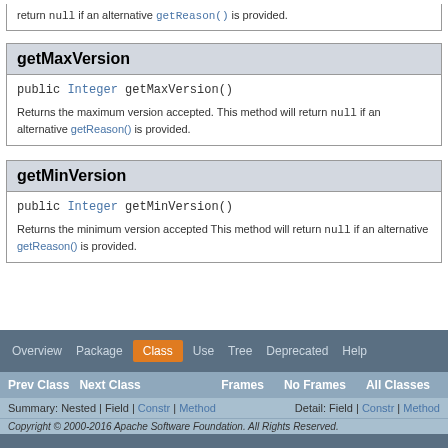return null if an alternative getReason() is provided.
getMaxVersion
public Integer getMaxVersion()
Returns the maximum version accepted. This method will return null if an alternative getReason() is provided.
getMinVersion
public Integer getMinVersion()
Returns the minimum version accepted This method will return null if an alternative getReason() is provided.
Overview | Package | Class | Use | Tree | Deprecated | Help | Prev Class | Next Class | Frames | No Frames | All Classes | Summary: Nested | Field | Constr | Method | Detail: Field | Constr | Method | Copyright © 2000-2016 Apache Software Foundation. All Rights Reserved.